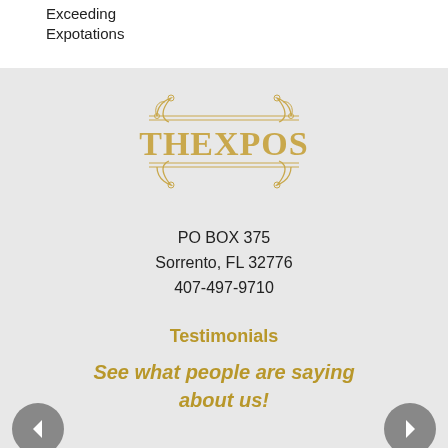Exceeding
Expotations
[Figure (logo): THEXPOS ornate gold logo with decorative scrollwork, horizontal lines, and serif lettering]
PO BOX 375
Sorrento, FL 32776
407-497-9710
Testimonials
See what people are saying about us!